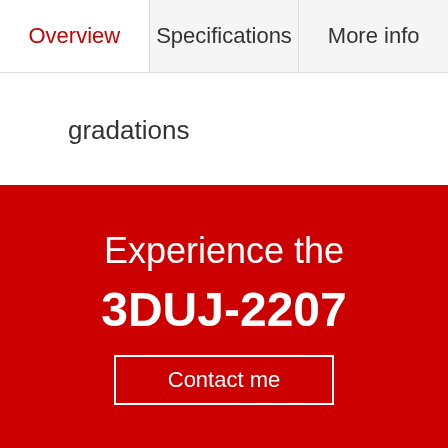Overview | Specifications | More info
gradations
Experience the
3DUJ-2207
Contact me
Este sitio web utiliza cookies Mimaki. De acuerdo con las regulaciones de la UE le pedimos que aceptar seguir.
Aceptar   Más información